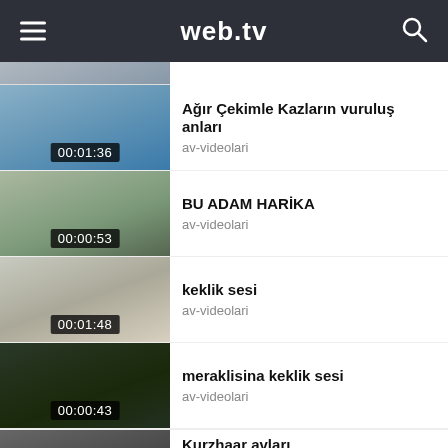web.tv
[Figure (screenshot): Partial video thumbnail at top, cropped]
Ağır Çekimle Kazların vuruluş anları
av-videolari
00:01:36
BU ADAM HARİKA
av-videolari
00:00:53
keklik sesi
av-videolari
00:01:48
meraklisina keklik sesi
av-videolari
00:00:43
Kurzhaar avları